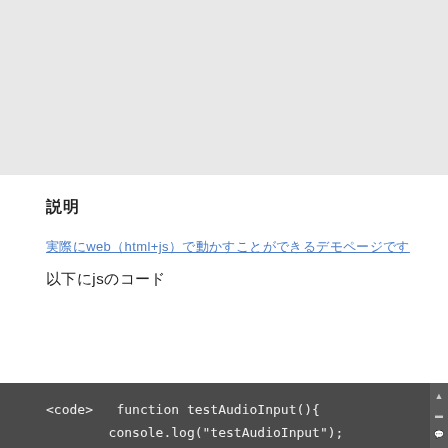[Figure (other): Gray banner placeholder image area at the top of the page]
説明
実際にweb（html+js）で動かすことができるデモページです
以下にjsのコード
<code>   function testAudioInput(){
        console.log("testAudioInput");

        var inputAudio = $("#inputAudio");